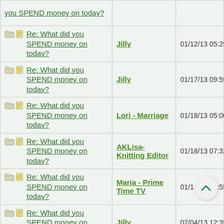| Topic | Author | Date |
| --- | --- | --- |
| Re: What did you SPEND money on today? |  |  |
| Re: What did you SPEND money on today? | Jilly | 01/12/13 05:29 AM |
| Re: What did you SPEND money on today? | Jilly | 01/17/13 09:59 PM |
| Re: What did you SPEND money on today? | Lori - Marriage | 01/18/13 05:00 PM |
| Re: What did you SPEND money on today? | AKLisa- Knitting Editor | 01/18/13 07:32 PM |
| Re: What did you SPEND money on today? | Maria - Prime Time TV | 01/18/13 08:55 PM |
| Re: What did you SPEND money on today? | Jilly | 02/04/13 12:35 AM |
| Re: What did you SPEND money on today? | Jilly | 02/06/13 06:04 PM |